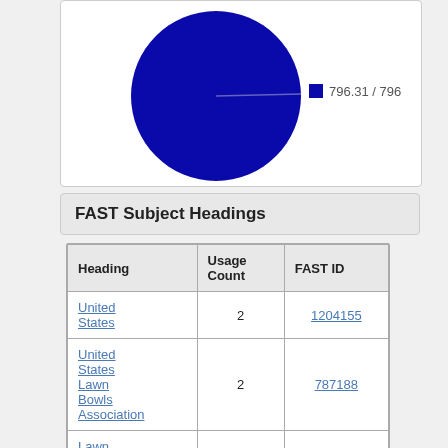[Figure (pie-chart): ]
FAST Subject Headings
| Heading | Usage Count | FAST ID |
| --- | --- | --- |
| United States | 2 | 1204155 |
| United States Lawn Bowls Association | 2 | 787188 |
| Lawn bowls | 2 | 994305 |